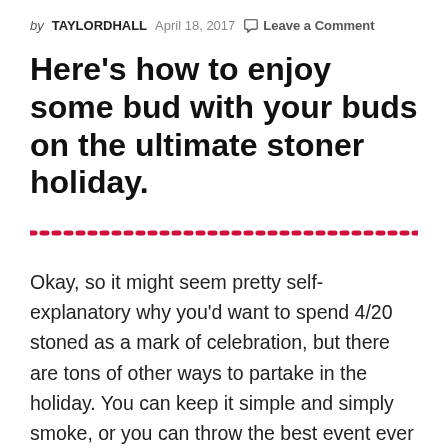by TAYLORDHALL   April 18, 2017   Leave a Comment
Here's how to enjoy some bud with your buds on the ultimate stoner holiday.
Okay, so it might seem pretty self-explanatory why you'd want to spend 4/20 stoned as a mark of celebration, but there are tons of other ways to partake in the holiday. You can keep it simple and simply smoke, or you can throw the best event ever for your fave stoner vinas. For